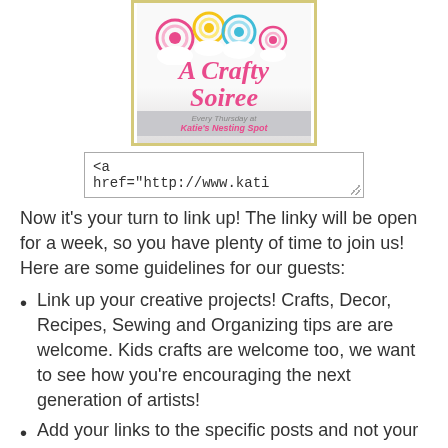[Figure (logo): A Crafty Soiree logo with colorful pinwheel decorations on a light background with gold border. Text reads 'A Crafty Soiree Every Thursday at Katie's Nesting Spot']
<a
href="http://www.kati
Now it's your turn to link up! The linky will be open for a week, so you have plenty of time to join us! Here are some guidelines for our guests:
Link up your creative projects! Crafts, Decor, Recipes, Sewing and Organizing tips are are welcome. Kids crafts are welcome too, we want to see how you're encouraging the next generation of artists!
Add your links to the specific posts and not your blog's homepage. Please make sure you post is NEW to A Crafty Soiree, it can be from your archives but should not be something you linked